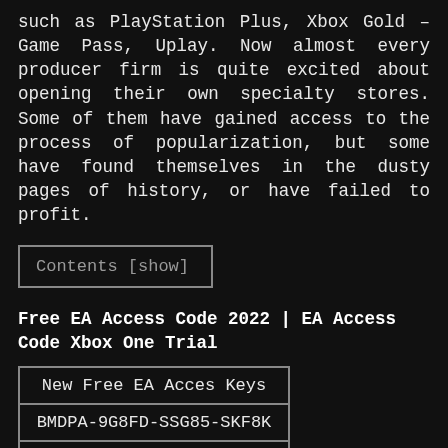such as PlayStation Plus, Xbox Gold – Game Pass, Uplay. Now almost every producer firm is quite excited about opening their own specialty stores. Some of them have gained access to the process of popularization, but some have found themselves in the dusty pages of history, or have failed to profit.
Contents [show]
Free EA Access Code 2022 | EA Access Code Xbox One Trial
| New Free EA Acces Keys |
| --- |
| BMDPA-9G8FD-SSG85-SKF8K |